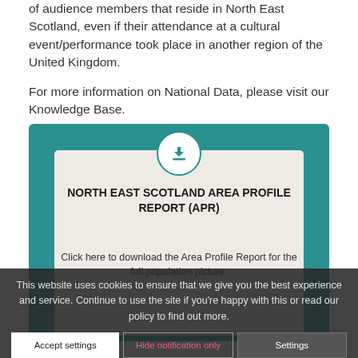of audience members that reside in North East Scotland, even if their attendance at a cultural event/performance took place in another region of the United Kingdom.
For more information on National Data, please visit our Knowledge Base.
[Figure (infographic): Teal download card showing 'NORTH EAST SCOTLAND AREA PROFILE REPORT (APR)' with a download icon in a circle, and text 'Click here to download the Area Profile Report for the full population picture.']
This website uses cookies to ensure that we give you the best experience and service. Continue to use the site if you're happy with this or read our policy to find out more.
Accept settings | Hide notification only | Settings